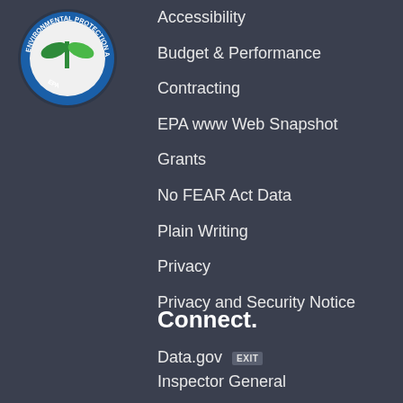[Figure (logo): EPA Environmental Protection Agency circular seal logo with blue circle, green plant/leaf design, and white text around the border]
Accessibility
Budget & Performance
Contracting
EPA www Web Snapshot
Grants
No FEAR Act Data
Plain Writing
Privacy
Privacy and Security Notice
Connect.
Data.gov EXIT
Inspector General